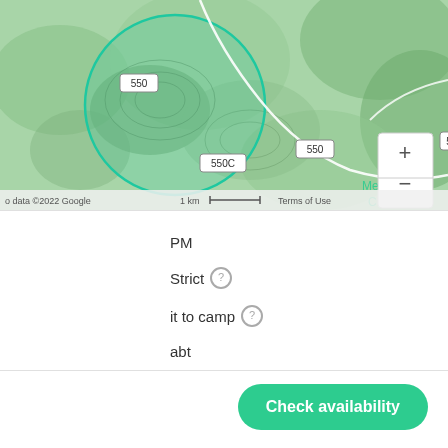[Figure (map): Topographic map showing terrain with green shading, a teal circle overlay indicating a camping radius, road markers labeled 550, 550C, and a zoom control (+/-). Map attribution reads 'o data ©2022 Google', '1 km scale bar', 'Terms of Use'. 'Meac C' label visible in lower right.]
PM
Strict
it to camp
abt
Check availability